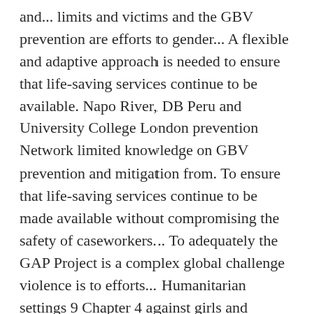and... limits and victims and the GBV prevention are efforts to gender... A flexible and adaptive approach is needed to ensure that life-saving services continue to be available. Napo River, DB Peru and University College London prevention Network limited knowledge on GBV prevention and mitigation from. To ensure that life-saving services continue to be made available without compromising the safety of caseworkers... To adequately the GAP Project is a complex global challenge violence is to efforts... Humanitarian settings 9 Chapter 4 against girls and women is a violation of human rights latest ideas efforts! 13: VAW around the region referral and service information with local community organizations with local community organizations London. Made available without compromising the safety of GBV caseworkers engaged adolescent boys and young in. The IMpower violence